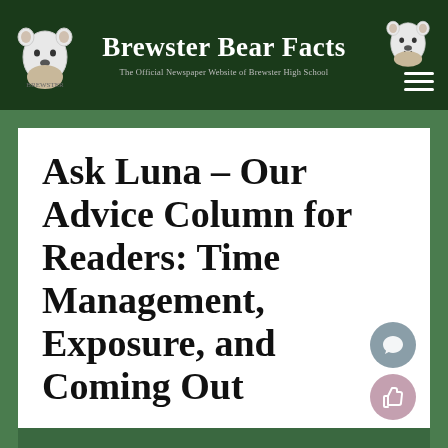Brewster Bear Facts – The Official Newspaper Website of Brewster High School
Ask Luna – Our Advice Column for Readers: Time Management, Exposure, and Coming Out